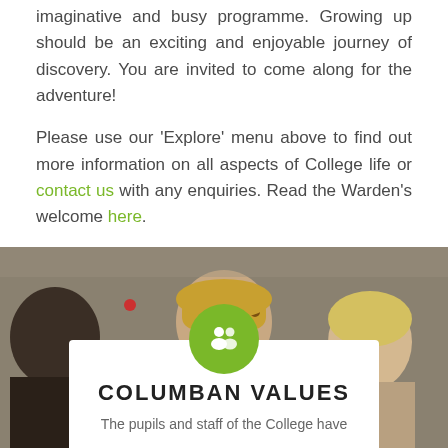imaginative and busy programme. Growing up should be an exciting and enjoyable journey of discovery. You are invited to come along for the adventure!
Please use our 'Explore' menu above to find out more information on all aspects of College life or contact us with any enquiries. Read the Warden's welcome here.
[Figure (photo): Group of students/people photographed from waist up, one wearing a leopard print headband, background is a classroom or indoor setting]
COLUMBAN VALUES
The pupils and staff of the College have